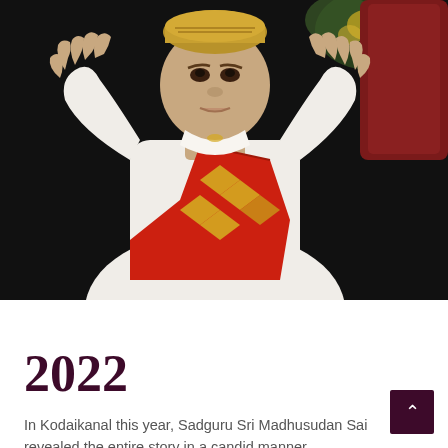[Figure (photo): A man in white traditional Indian attire with a red and gold decorative sash, hands raised in a devotional gesture, seated against a dark background with flowers visible. The person appears to be Sadguru Sri Madhusudan Sai.]
2022
In Kodaikanal this year, Sadguru Sri Madhusudan Sai revealed the entire story in a candid manner.